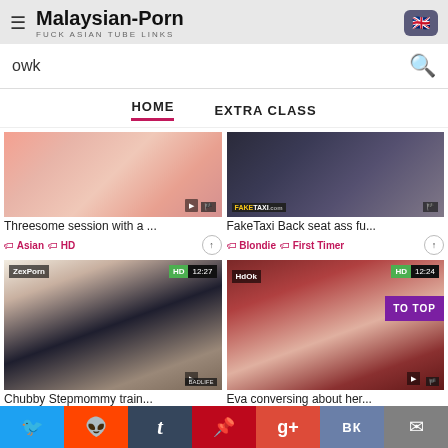Malaysian-Porn — FUCK ASIAN TUBE LINKS
owk
HOME    EXTRA CLASS
[Figure (screenshot): Thumbnail of threesome video with pink/skin tone background]
Threesome session with a ...
Asian  HD
[Figure (screenshot): FakeTaxi back seat thumbnail with dark background]
FakeTaxi Back seat ass fu...
Blondie  First Timer
[Figure (screenshot): ZexPorn thumbnail: Chubby Stepmommy with two women and laptop, HD 12:27]
Chubby Stepmommy train...
[Figure (screenshot): HdOk thumbnail: Eva conversing, woman in red room, HD 12:24]
Eva conversing about her...
Twitter  Reddit  Tumblr  Pinterest  Google+  VK  Email